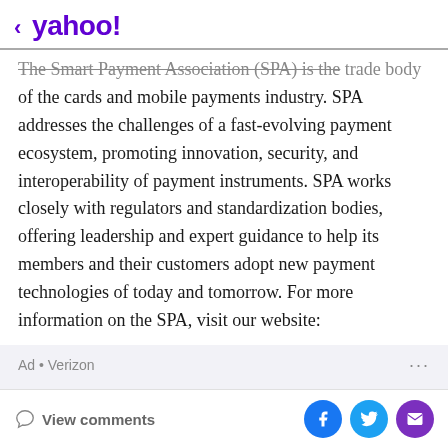< yahoo!
The Smart Payment Association (SPA) is the trade body of the cards and mobile payments industry. SPA addresses the challenges of a fast-evolving payment ecosystem, promoting innovation, security, and interoperability of payment instruments. SPA works closely with regulators and standardization bodies, offering leadership and expert guidance to help its members and their customers adopt new payment technologies of today and tomorrow. For more information on the SPA, visit our website:
Ad • Verizon
[Figure (screenshot): Ad banner showing Apple iPhone 12 advertisement from Verizon]
View comments